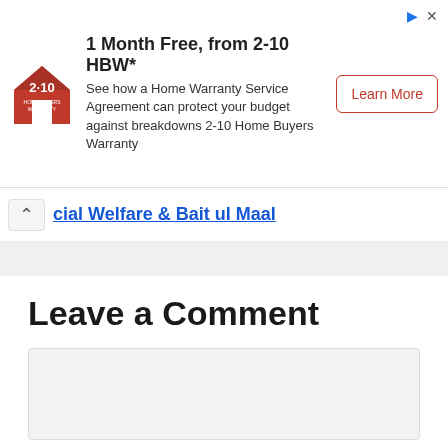[Figure (other): 2-10 Home Buyers Warranty advertisement banner. Shows logo on left, headline '1 Month Free, from 2-10 HBW*', subtext 'See how a Home Warranty Service Agreement can protect your budget against breakdowns 2-10 Home Buyers Warranty', and a 'Learn More' button on the right.]
cial Welfare & Bait ul Maal
Leave a Comment
(comment text area)